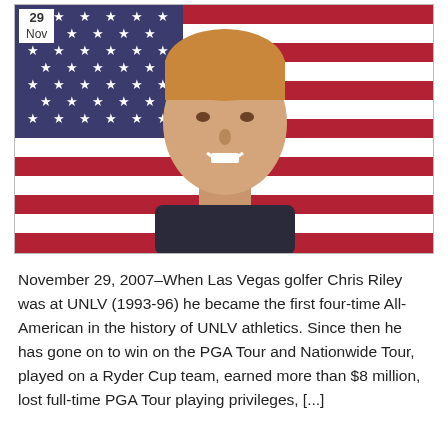[Figure (photo): Photo of golfer Chris Riley in front of an American flag. Date badge showing '29 Nov' in top left corner.]
November 29, 2007–When Las Vegas golfer Chris Riley was at UNLV (1993-96) he became the first four-time All-American in the history of UNLV athletics. Since then he has gone on to win on the PGA Tour and Nationwide Tour, played on a Ryder Cup team, earned more than $8 million, lost full-time PGA Tour playing privileges, [...]